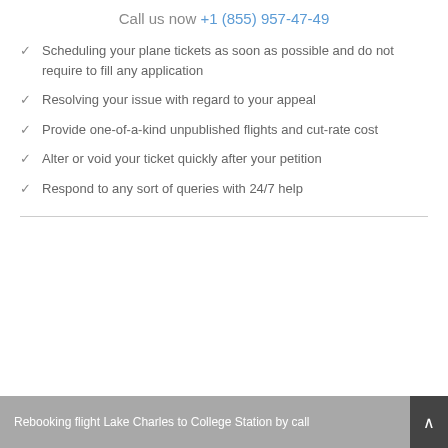Call us now +1 (855) 957-47-49
Scheduling your plane tickets as soon as possible and do not require to fill any application
Resolving your issue with regard to your appeal
Provide one-of-a-kind unpublished flights and cut-rate cost
Alter or void your ticket quickly after your petition
Respond to any sort of queries with 24/7 help
Rebooking flight Lake Charles to College Station by call